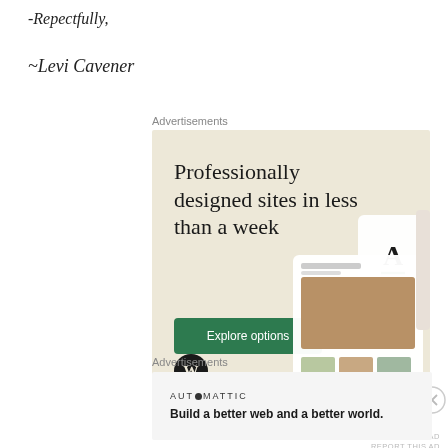-Repectfully,
~Levi Cavener
Advertisements
[Figure (illustration): WordPress advertisement: beige background with large serif text 'Professionally designed sites in less than a week', green 'Explore options' button, WordPress logo, and website mockup screenshots on right side]
[Figure (illustration): Automattic advertisement: light gray background with 'AUTOMATTIC' logo text and tagline 'Build a better web and a better world.']
Advertisements